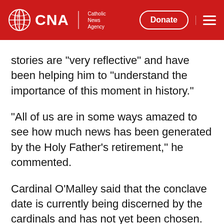CNA | Catholic News Agency — Donate
stories are "very reflective" and have been helping him to "understand the importance of this moment in history."
"All of us are in some ways amazed to see how much news has been generated by the Holy Father's retirement," he commented.
Cardinal O'Malley said that the conclave date is currently being discerned by the cardinals and has not yet been chosen.
"I think this is the most important decision we